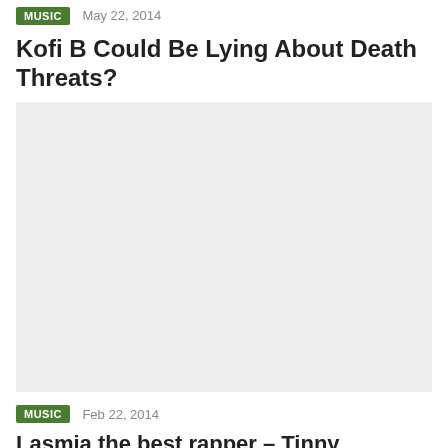MUSIC  May 22, 2014
Kofi B Could Be Lying About Death Threats?
[Figure (photo): Large image placeholder, light gray background]
MUSIC  Feb 22, 2014
Lasmia the best rapper – Tinny